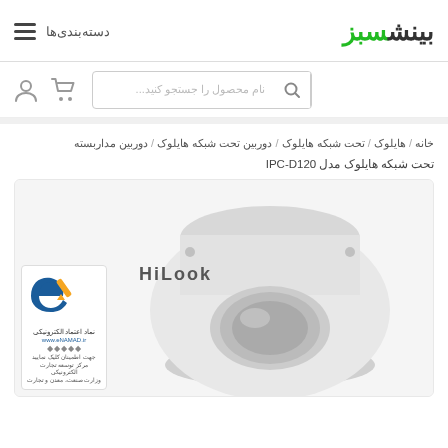[Figure (logo): بینش سبز logo — 'بینش' in dark gray bold, 'سبز' in green bold]
دسته‌بندی‌ها ☰
نام محصول را جستجو کنید...
خانه / هایلوک / تحت شبکه هایلوک / دوربین تحت شبکه هایلوک / دوربین مداربسته تحت شبکه هایلوک مدل IPC-D120
[Figure (photo): HiLook dome IP camera, white/gray color, viewed from above at slight angle, with eNamad electronic trust badge in bottom-left corner]